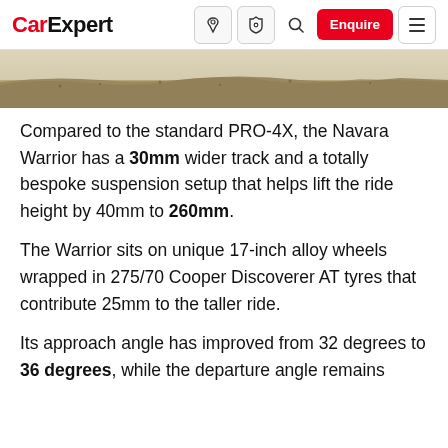CarExpert
[Figure (photo): Partial view of a sandy/rocky desert landscape, showing the horizon with sand dunes and rough terrain.]
Compared to the standard PRO-4X, the Navara Warrior has a 30mm wider track and a totally bespoke suspension setup that helps lift the ride height by 40mm to 260mm.
The Warrior sits on unique 17-inch alloy wheels wrapped in 275/70 Cooper Discoverer AT tyres that contribute 25mm to the taller ride.
Its approach angle has improved from 32 degrees to 36 degrees, while the departure angle remains